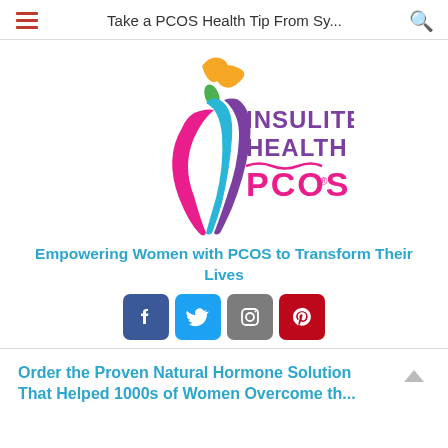Take a PCOS Health Tip From Sy...
[Figure (logo): Insulite Health PCOS logo with colorful female figure silhouette and text INSULITE HEALTH PCOS]
Empowering Women with PCOS to Transform Their Lives
[Figure (infographic): Social media icons: Facebook, Twitter, Instagram, Pinterest]
Order the Proven Natural Hormone Solution That Helped 1000s of Women Overcome the...